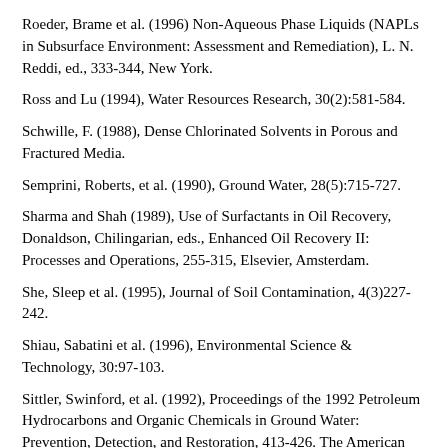Roeder, Brame et al. (1996) Non-Aqueous Phase Liquids (NAPLs in Subsurface Environment: Assessment and Remediation), L. N. Reddi, ed., 333-344, New York.
Ross and Lu (1994), Water Resources Research, 30(2):581-584.
Schwille, F. (1988), Dense Chlorinated Solvents in Porous and Fractured Media.
Semprini, Roberts, et al. (1990), Ground Water, 28(5):715-727.
Sharma and Shah (1989), Use of Surfactants in Oil Recovery, Donaldson, Chilingarian, eds., Enhanced Oil Recovery II: Processes and Operations, 255-315, Elsevier, Amsterdam.
She, Sleep et al. (1995), Journal of Soil Contamination, 4(3)227-242.
Shiau, Sabatini et al. (1996), Environmental Science & Technology, 30:97-103.
Sittler, Swinford, et al. (1992), Proceedings of the 1992 Petroleum Hydrocarbons and Organic Chemicals in Ground Water: Prevention, Detection, and Restoration, 413-426. The American Petroleum Institute and The Association of Ground Water